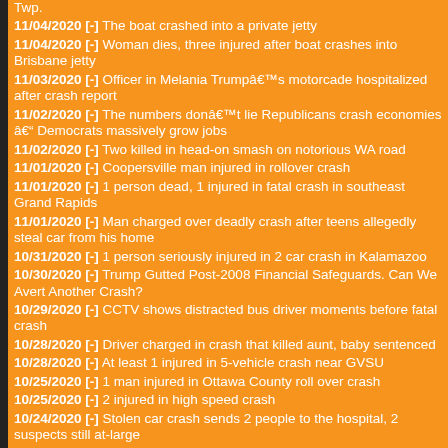Twp.
11/04/2020 [-] The boat crashed into a private jetty
11/04/2020 [-] Woman dies, three injured after boat crashes into Brisbane jetty
11/03/2020 [-] Officer in Melania Trumpâ€™s motorcade hospitalized after crash report
11/02/2020 [-] The numbers donâ€™t lie Republicans crash economies â€“ Democrats massively grow jobs
11/02/2020 [-] Two killed in head-on smash on notorious WA road
11/01/2020 [-] Coopersville man injured in rollover crash
11/01/2020 [-] 1 person dead, 1 injured in fatal crash in southeast Grand Rapids
11/01/2020 [-] Man charged over deadly crash after teens allegedly steal car from his home
10/31/2020 [-] 1 person seriously injured in 2 car crash in Kalamazoo
10/30/2020 [-] Trump Gutted Post-2008 Financial Safeguards. Can We Avert Another Crash?
10/29/2020 [-] CCTV shows distracted bus driver moments before fatal crash
10/28/2020 [-] Driver charged in crash that killed aunt, baby sentenced
10/28/2020 [-] At least 1 injured in 5-vehicle crash near GVSU
10/25/2020 [-] 1 man injured in Ottawa County roll over crash
10/25/2020 [-] 2 injured in high speed crash
10/24/2020 [-] Stolen car crash sends 2 people to the hospital, 2 suspects still at-large
10/22/2020 [-] Court shown dashcam footage of motorway inferno that claimed two lives
10/21/2020 [-] 1 injured in 2 car crash in Ottawa County